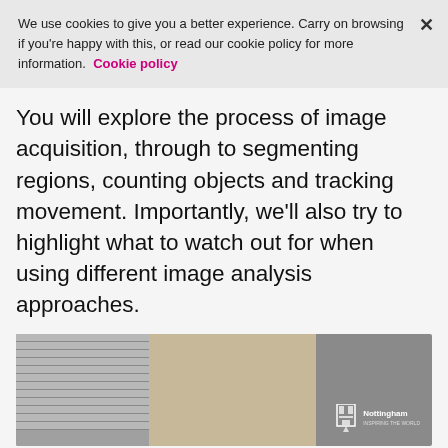We use cookies to give you a better experience. Carry on browsing if you're happy with this, or read our cookie policy for more information. Cookie policy
You will explore the process of image acquisition, through to segmenting regions, counting objects and tracking movement. Importantly, we'll also try to highlight what to watch out for when using different image analysis approaches.
[Figure (photo): Video thumbnail showing a person with blonde hair in front of venetian blinds, with a University of Nottingham logo in the lower right corner.]
Join course
3,620 enrolled on this course